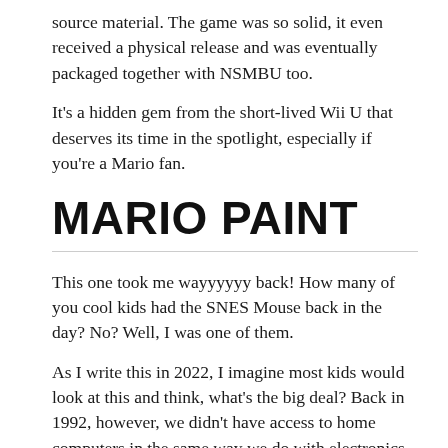source material. The game was so solid, it even received a physical release and was eventually packaged together with NSMBU too.
It's a hidden gem from the short-lived Wii U that deserves its time in the spotlight, especially if you're a Mario fan.
MARIO PAINT
This one took me wayyyyyy back! How many of you cool kids had the SNES Mouse back in the day? No? Well, I was one of them.
As I write this in 2022, I imagine most kids would look at this and think, what's the big deal? Back in 1992, however, we didn't have access to home computers in the same way we do with electronics today and how PCs tablet to be replaced by...